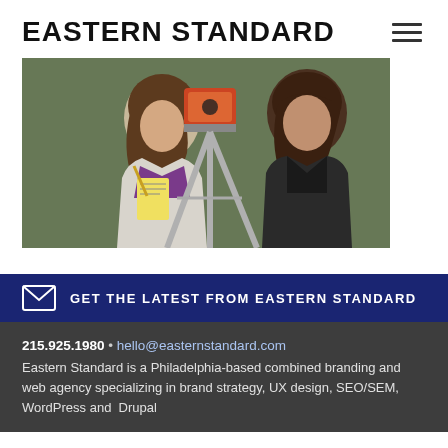EASTERN STANDARD
[Figure (photo): Two people outdoors near a surveying tripod instrument; one person with curly hair wearing a purple jacket writes on a notepad, another person in a dark vest stands nearby]
GET THE LATEST FROM EASTERN STANDARD
215.925.1980 • hello@easternstandard.com
Eastern Standard is a Philadelphia-based combined branding and web agency specializing in brand strategy, UX design, SEO/SEM, WordPress and Drupal